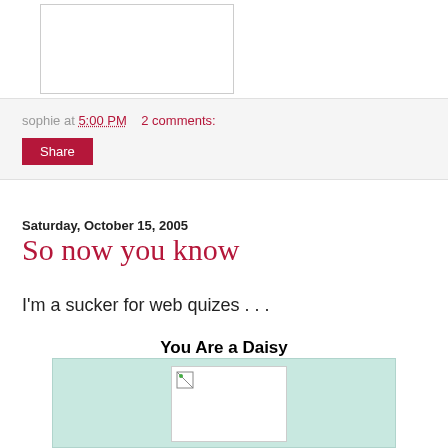[Figure (photo): Empty white image box with border at top of page]
sophie at 5:00 PM    2 comments:
Share
Saturday, October 15, 2005
So now you know
I'm a sucker for web quizes . . .
You Are a Daisy
[Figure (photo): Teal/mint colored quiz result box with broken image placeholder inside]